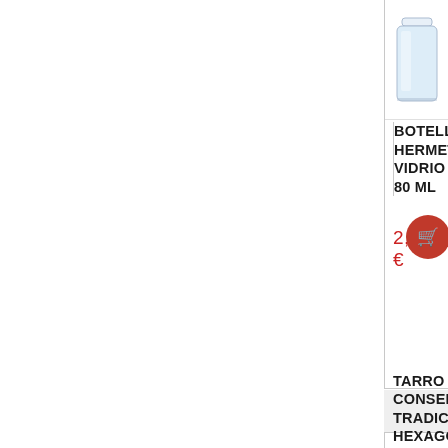[Figure (photo): Glass hermetic bottle, partially visible at top of first product card]
BOTELLA HERMETI... VIDRIO 80 ML
2,48 €
[Figure (photo): Second product card image area - empty/white, product image not visible]
TARRO CONSERVA TRADICIONAL HEXAGONAL